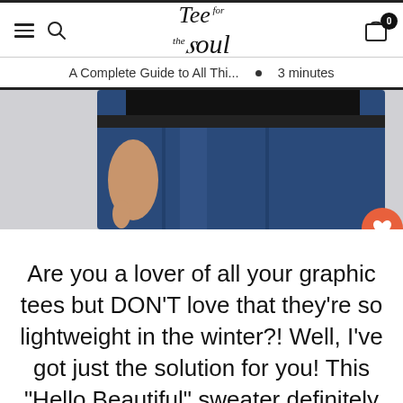Tee for the Soul — navigation header with hamburger menu, search icon, logo, and cart (0 items)
A Complete Guide to All Thi...  •  3 minutes
[Figure (photo): Cropped photo of a person wearing dark blue jeans and a black top, shot from mid-torso to thighs against a light grey/white background.]
Are you a lover of all your graphic tees but DON'T love that they're so lightweight in the winter?! Well, I've got just the solution for you! This "Hello Beautiful" sweater definitely meets it all in the